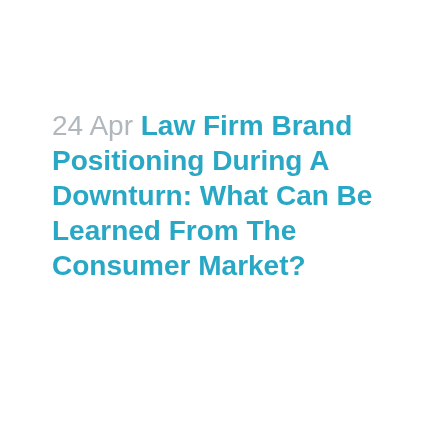24 Apr Law Firm Brand Positioning During A Downturn: What Can Be Learned From The Consumer Market?